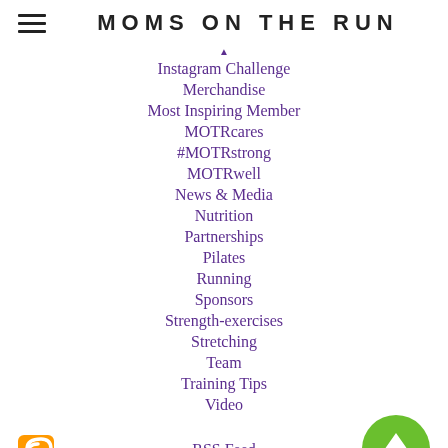MOMS ON THE RUN
Instagram Challenge
Merchandise
Most Inspiring Member
MOTRcares
#MOTRstrong
MOTRwell
News & Media
Nutrition
Partnerships
Pilates
Running
Sponsors
Strength-exercises
Stretching
Team
Training Tips
Video
RSS Feed